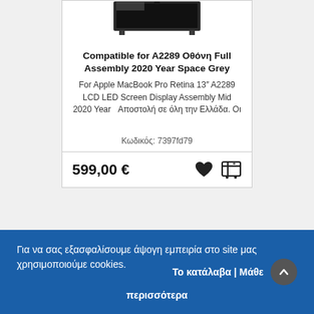[Figure (photo): Partial view of a laptop/MacBook screen display assembly from above, showing the dark screen and hinges]
Compatible for A2289 Οθόνη Full Assembly 2020 Year Space Grey
For Apple MacBook Pro Retina 13" A2289 LCD LED Screen Display Assembly Mid 2020 Year   Αποστολή σε όλη την Ελλάδα. Οι
Κωδικός: 7397fd79
599,00 €
Για να σας εξασφαλίσουμε άψογη εμπειρία στο site μας χρησιμοποιούμε cookies.   Το κατάλαβα | Μάθετε περισσότερα